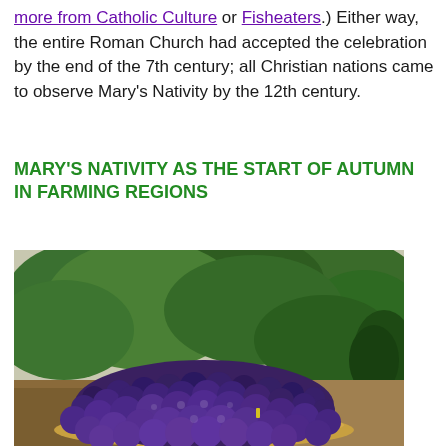more from Catholic Culture or Fisheaters.) Either way, the entire Roman Church had accepted the celebration by the end of the 7th century; all Christian nations came to observe Mary's Nativity by the 12th century.
MARY'S NATIVITY AS THE START OF AUTUMN IN FARMING REGIONS
[Figure (photo): A photograph showing bunches of dark purple/blue grapes piled on the ground in front of a row of green leafy vines or bushes along a dirt path.]